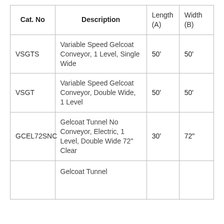| Cat. No | Description | Length (A) | Width (B) |
| --- | --- | --- | --- |
| VSGTS | Variable Speed Gelcoat Conveyor, 1 Level, Single Wide | 50' | 50' |
| VSGT | Variable Speed Gelcoat Conveyor, Double Wide, 1 Level | 50' | 50' |
| GCEL72SNC | Gelcoat Tunnel No Conveyor, Electric, 1 Level, Double Wide 72" Clear | 30' | 72" |
|  | Gelcoat Tunnel... |  |  |